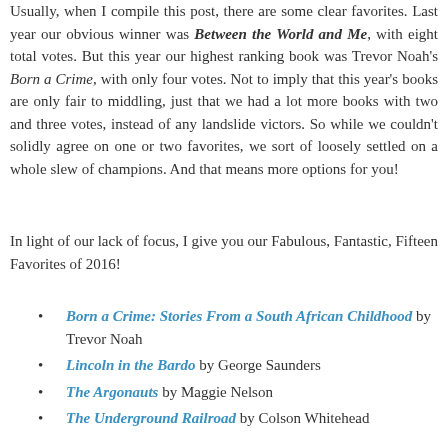Usually, when I compile this post, there are some clear favorites. Last year our obvious winner was Between the World and Me, with eight total votes. But this year our highest ranking book was Trevor Noah's Born a Crime, with only four votes. Not to imply that this year's books are only fair to middling, just that we had a lot more books with two and three votes, instead of any landslide victors. So while we couldn't solidly agree on one or two favorites, we sort of loosely settled on a whole slew of champions. And that means more options for you!
In light of our lack of focus, I give you our Fabulous, Fantastic, Fifteen Favorites of 2016!
Born a Crime: Stories From a South African Childhood by Trevor Noah
Lincoln in the Bardo by George Saunders
The Argonauts by Maggie Nelson
The Underground Railroad by Colson Whitehead